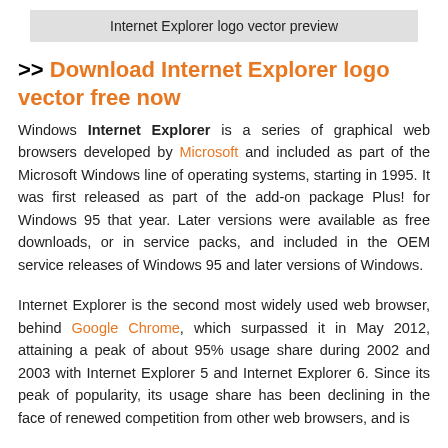Internet Explorer logo vector preview
>> Download Internet Explorer logo vector free now
Windows Internet Explorer is a series of graphical web browsers developed by Microsoft and included as part of the Microsoft Windows line of operating systems, starting in 1995. It was first released as part of the add-on package Plus! for Windows 95 that year. Later versions were available as free downloads, or in service packs, and included in the OEM service releases of Windows 95 and later versions of Windows.
Internet Explorer is the second most widely used web browser, behind Google Chrome, which surpassed it in May 2012, attaining a peak of about 95% usage share during 2002 and 2003 with Internet Explorer 5 and Internet Explorer 6. Since its peak of popularity, its usage share has been declining in the face of renewed competition from other web browsers, and is